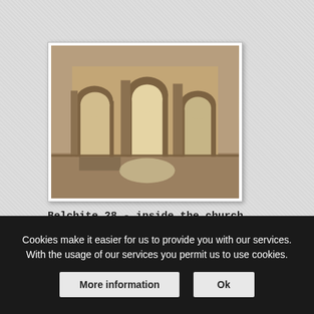[Figure (photo): Photo of the interior of a ruined church in Belchite, showing stone arches and columns with natural light coming through openings.]
Belchite 28 - inside the church
Cookies make it easier for us to provide you with our services. With the usage of our services you permit us to use cookies.